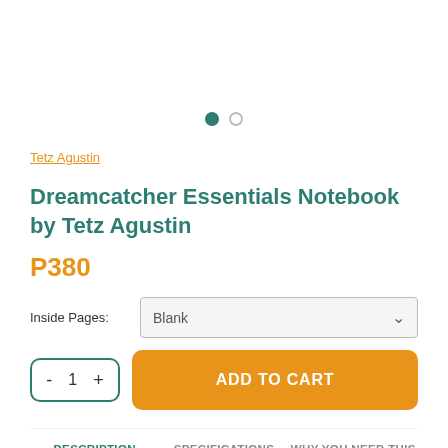[Figure (other): Carousel image area with two navigation dots — one filled teal, one empty circle]
Tetz Agustin
Dreamcatcher Essentials Notebook by Tetz Agustin
P380
Inside Pages: Blank
- 1 +   ADD TO CART
DESCRIPTION   SPECIFICATIONS   WHY YOU NEED THIS